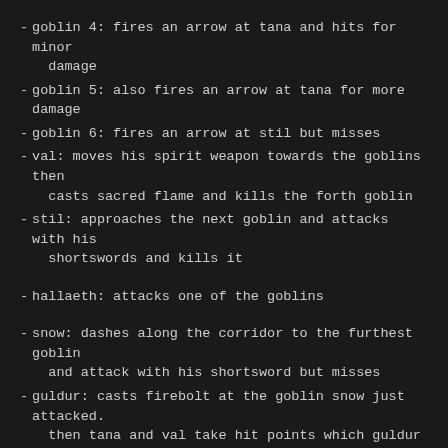goblin 4: fires an arrow at tana and hits for minor damage
goblin 5: also fires an arrow at tana for more damage
goblin 6: fires an arrow at stil but misses
val: moves his spirit weapon towards the goblins then casts sacred flame and kills the forth goblin
stil: approaches the next goblin and attacks with his shortswords and kills it
hallaeth: attacks one of the goblins
snow: dashes along the corridor to the furthest goblin and attack with his shortsword but misses
guldur: casts firebolt at the goblin snow just attacked. then tana and val take hit points which guldur gains
tana: still as a bear approaches the two goblins by snow and tries to bite one but misses, but claws the second